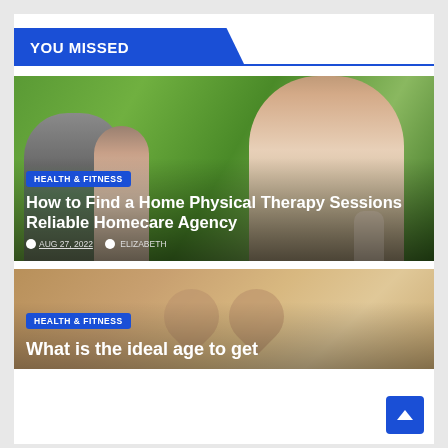YOU MISSED
[Figure (photo): Elderly woman and younger female caregiver sitting together outdoors with green background]
HEALTH & FITNESS
How to Find a Home Physical Therapy Sessions Reliable Homecare Agency
AUG 27, 2022   ELIZABETH
[Figure (photo): Close-up of two pairs of hands forming a heart shape, warm brown tones]
HEALTH & FITNESS
What is the ideal age to get